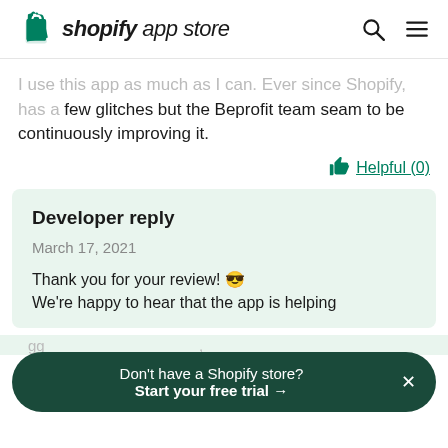shopify app store
...few glitches but the Beprofit team seam to be continuously improving it.
Helpful (0)
Developer reply
March 17, 2021
Thank you for your review! 😎
We're happy to hear that the app is helping
Don't have a Shopify store?
Start your free trial →